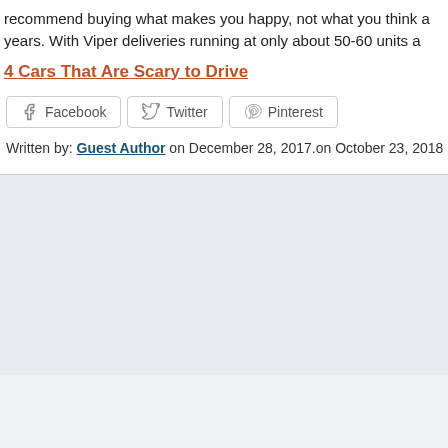recommend buying what makes you happy, not what you think a years. With Viper deliveries running at only about 50-60 units a
4 Cars That Are Scary to Drive
[Figure (other): Social sharing buttons: Facebook, Twitter, Pinterest]
Written by: Guest Author on December 28, 2017.on October 23, 2018